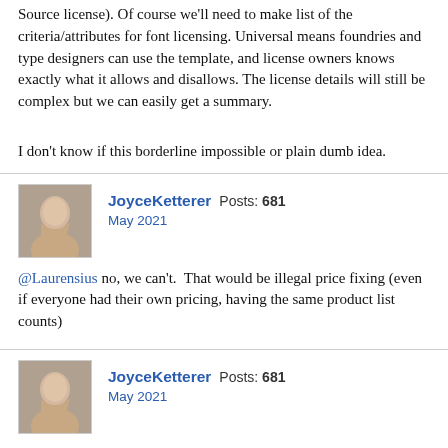Source license). Of course we'll need to make list of the criteria/attributes for font licensing. Universal means foundries and type designers can use the template, and license owners knows exactly what it allows and disallows. The license details will still be complex but we can easily get a summary.
I don't know if this borderline impossible or plain dumb idea.
JoyceKetterer Posts: 681
May 2021
@Laurensius no, we can't.  That would be illegal price fixing (even if everyone had their own pricing, having the same product list counts)
JoyceKetterer Posts: 681
May 2021
@Christopher Slye How much of that resistance do you think comes down to a belief that fonts are simple and that therefore anything complicated is inappropriate for fonts? I feel like I hear